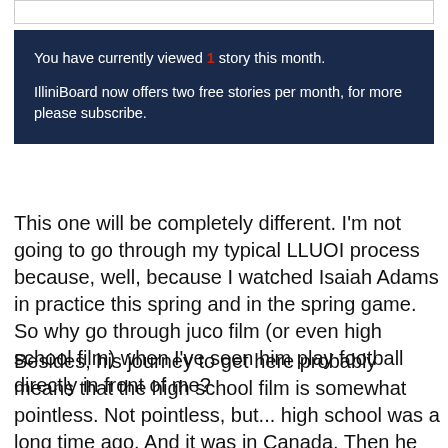You have currently viewed 1 story this month. IlliniBoard now offers two free stories per month, for more please subscribe.
This one will be completely different. I'm not going to go through my typical LLUOI process because, well, because I watched Isaiah Adams in practice this spring and in the spring game. So why go through juco film (or even high school film) when I've seen him play football directly in front of me?
Besides, his journey to get here probably means that the high school film is somewhat pointless. Not pointless, but... high school was a long time ago. And it was in Canada. Then he played college football in Canada, then junior college football in Kansas, and now Big Ten